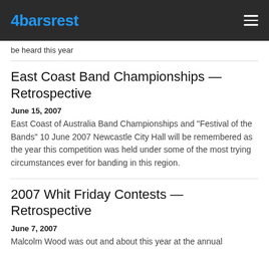4barsrest
be heard this year
East Coast Band Championships — Retrospective
June 15, 2007
East Coast of Australia Band Championships and "Festival of the Bands" 10 June 2007 Newcastle City Hall will be remembered as the year this competition was held under some of the most trying circumstances ever for banding in this region.
2007 Whit Friday Contests — Retrospective
June 7, 2007
Malcolm Wood was out and about this year at the annual